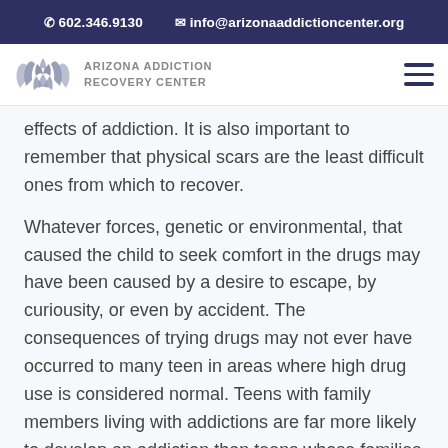602.346.9130  info@arizonaaddictioncenter.org
[Figure (logo): Arizona Addiction Recovery Center logo with lotus/hands icon and text]
effects of addiction. It is also important to remember that physical scars are the least difficult ones from which to recover.
Whatever forces, genetic or environmental, that caused the child to seek comfort in the drugs may have been caused by a desire to escape, by curiousity, or even by accident. The consequences of trying drugs may not ever have occurred to many teen in areas where high drug use is considered normal. Teens with family members living with addictions are far more likely to develop an addiction than teens whose families are generally